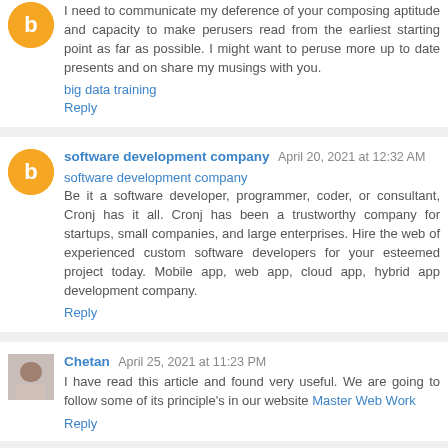I need to communicate my deference of your composing aptitude and capacity to make perusers read from the earliest starting point as far as possible. I might want to peruse more up to date presents and on share my musings with you.
big data training
Reply
software development company  April 20, 2021 at 12:32 AM
software development company
Be it a software developer, programmer, coder, or consultant, Cronj has it all. Cronj has been a trustworthy company for startups, small companies, and large enterprises. Hire the web of experienced custom software developers for your esteemed project today. Mobile app, web app, cloud app, hybrid app development company.
Reply
Chetan  April 25, 2021 at 11:23 PM
I have read this article and found very useful. We are going to follow some of its principle's in our website Master Web Work
Reply